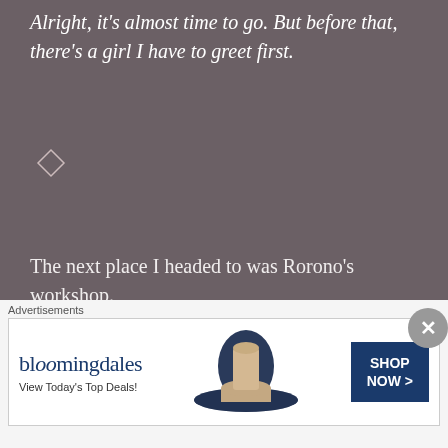Alright, it's almost time to go. But before that, there's a girl I have to greet first.
[Figure (illustration): A small diamond/rhombus outline shape used as a section divider]
The next place I headed to was Rorono's workshop.
When I entered, I was greeted by two Abyss Howls. While swinging their tails, they were
Advertisements
[Figure (illustration): Bloomingdale's advertisement banner showing logo, 'View Today's Top Deals!' text, a woman in a wide-brim hat, and a 'SHOP NOW >' button]